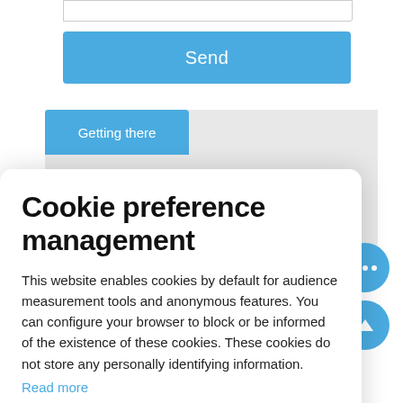[Figure (screenshot): Blue Send button on webpage]
[Figure (screenshot): Getting there tab with map background]
Cookie preference management
This website enables cookies by default for audience measurement tools and anonymous features. You can configure your browser to block or be informed of the existence of these cookies. These cookies do not store any personally identifying information.
Read more
No thanks
I choose
Ok for me